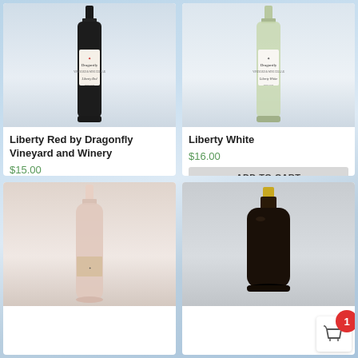[Figure (photo): Wine bottle - Liberty Red by Dragonfly Vineyard and Winery, dark bottle with white label]
Liberty Red by Dragonfly Vineyard and Winery
$15.00
ADD TO CART
[Figure (photo): Wine bottle - Liberty White by Dragonfly, clear/green bottle with white label]
Liberty White
$16.00
ADD TO CART
[Figure (photo): Wine bottle - rose/pink wine, light bottle with dragonfly label]
[Figure (photo): Wine bottle - dark squat bottle with yellow capsule top]